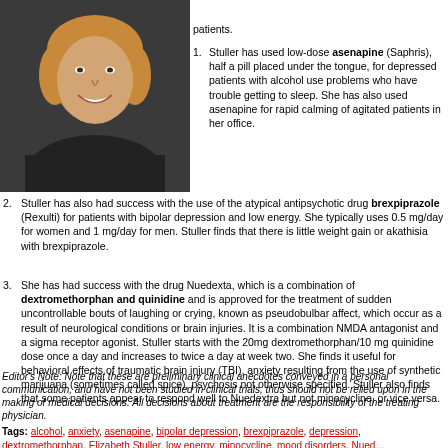[Figure (photo): Headshot of a woman smiling, with short curly hair, wearing dark clothing, dark background]
patients.
Stuller has used low-dose asenapine (Saphris), half a pill placed under the tongue, for depressed patients with alcohol use problems who have trouble getting to sleep. She has also used asenapine for rapid calming of agitated patients in her office.
Stuller has also had success with the use of the atypical antipsychotic drug brexpiprazole (Rexulti) for patients with bipolar depression and low energy. She typically uses 0.5 mg/day for women and 1 mg/day for men. Stuller finds that there is little weight gain or akathisia with brexpiprazole.
She has had success with the drug Nuedexta, which is a combination of dextromethorphan and quinidine and is approved for the treatment of sudden uncontrollable bouts of laughing or crying, known as pseudobulbar affect, which occur as a result of neurological conditions or brain injuries. It is a combination NMDA antagonist and a sigma receptor agonist. Stuller starts with the 20mg dextromethorphan/10 mg quinidine dose once a day and increases to twice a day at week two. She finds it useful for behavioral effects of traumatic brain injury (TBI), anxiety resulting from the use of synthetic marijuana (sometimes called spice), psychosis not otherwise specified. Stuller also finds that some patients appear to respond well to Nuedextra but not minocycline, or vice versa.
Editor's Note: Note that these are preliminary clinical anecdotes conveyed in a personal communication, and have not been studied in clinical trials, thus should not be relied upon in the making of medical decisions. All decisions about treatment are the responsibility of the treating physician.
Tags: alcohol, anxiety, asenapine, bipolar depression, brexpiprazole, depression, dextromethorphan, Elizabeth Stuller, low energy, minocycline, mood disorders, Nuedexta